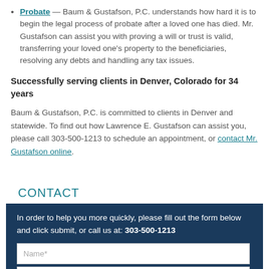Probate — Baum & Gustafson, P.C. understands how hard it is to begin the legal process of probate after a loved one has died. Mr. Gustafson can assist you with proving a will or trust is valid, transferring your loved one's property to the beneficiaries, resolving any debts and handling any tax issues.
Successfully serving clients in Denver, Colorado for 34 years
Baum & Gustafson, P.C. is committed to clients in Denver and statewide. To find out how Lawrence E. Gustafson can assist you, please call 303-500-1213 to schedule an appointment, or contact Mr. Gustafson online.
CONTACT
In order to help you more quickly, please fill out the form below and click submit, or call us at: 303-500-1213